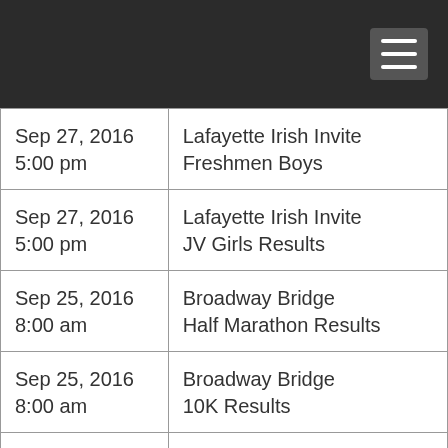| Sep 27, 2016
5:00 pm | Lafayette Irish Invite
Freshmen Boys |
| Sep 27, 2016
5:00 pm | Lafayette Irish Invite
JV Girls Results |
| Sep 25, 2016
8:00 am | Broadway Bridge
Half Marathon Results |
| Sep 25, 2016
8:00 am | Broadway Bridge
10K Results |
| Sep 25, 2016
7:15 am | Broadway Bridge 5k |
| Sep 25, 2016 | Regalia Run 5K |